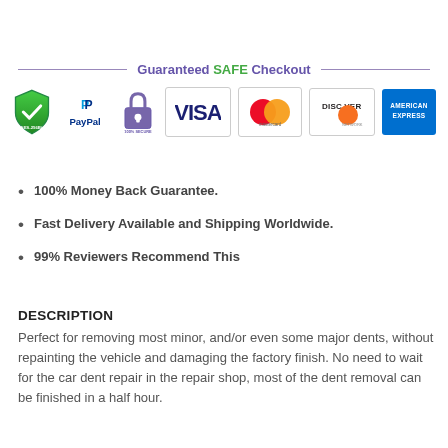[Figure (infographic): Guaranteed SAFE Checkout banner with SSL shield, PayPal, lock icon, Visa, Mastercard, Discover, and American Express logos]
100% Money Back Guarantee.
Fast Delivery Available and Shipping Worldwide.
99% Reviewers Recommend This
DESCRIPTION
Perfect for removing most minor, and/or even some major dents, without repainting the vehicle and damaging the factory finish. No need to wait for the car dent repair in the repair shop, most of the dent removal can be finished in a half hour.